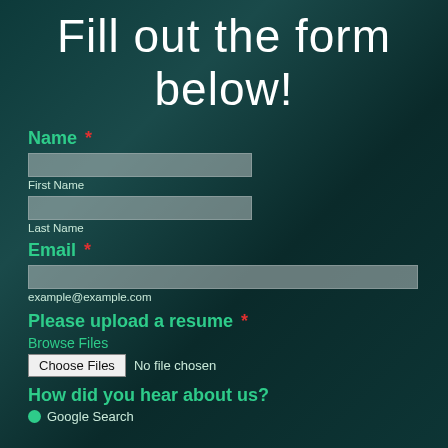Fill out the form below!
Name *
First Name
Last Name
Email *
example@example.com
Please upload a resume *
Browse Files
Choose Files  No file chosen
How did you hear about us?
Google Search